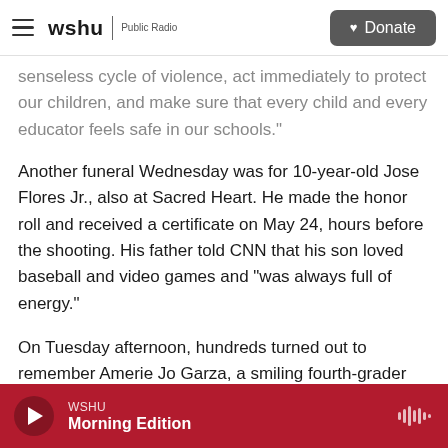wshu | Public Radio — Donate
senseless cycle of violence, act immediately to protect our children, and make sure that every child and every educator feels safe in our schools."
Another funeral Wednesday was for 10-year-old Jose Flores Jr., also at Sacred Heart. He made the honor roll and received a certificate on May 24, hours before the shooting. His father told CNN that his son loved baseball and video games and "was always full of energy."
On Tuesday afternoon, hundreds turned out to remember Amerie Jo Garza, a smiling fourth-grader whose funeral Mass was the first since the
WSHU — Morning Edition